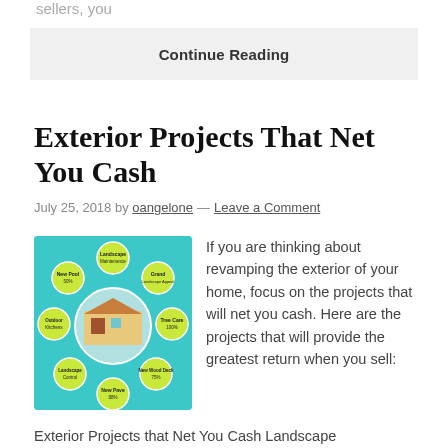sellers, you
Continue Reading
Exterior Projects That Net You Cash
July 25, 2018 by oangelone — Leave a Comment
[Figure (infographic): Circular infographic showing exterior home improvement projects with yellow circles on a teal background and a house photo in the center]
If you are thinking about revamping the exterior of your home, focus on the projects that will net you cash. Here are the projects that will provide the greatest return when you sell:
Exterior Projects that Net You Cash Landscape